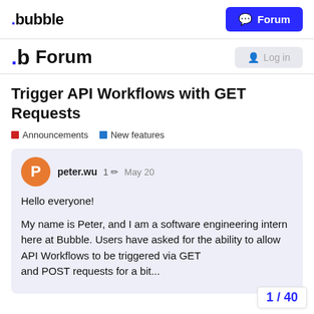.bubble  Forum
.b Forum  Log in
Trigger API Workflows with GET Requests
Announcements  New features
peter.wu  1 ✏  May 20
Hello everyone!
My name is Peter, and I am a software engineering intern here at Bubble. Users have asked for the ability to allow API Workflows to be triggered via GET and POST requests for a bit...
1 / 40